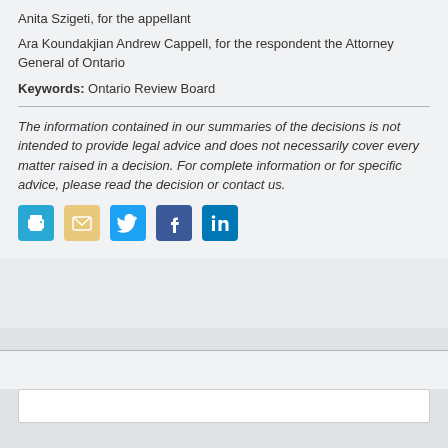Anita Szigeti, for the appellant
Ara Koundakjian Andrew Cappell, for the respondent the Attorney General of Ontario
Keywords: Ontario Review Board
The information contained in our summaries of the decisions is not intended to provide legal advice and does not necessarily cover every matter raised in a decision. For complete information or for specific advice, please read the decision or contact us.
[Figure (infographic): Row of five social sharing icons: print (cyan), email (yellow/tan), Twitter (blue bird), Facebook (dark blue f), LinkedIn (teal in).]